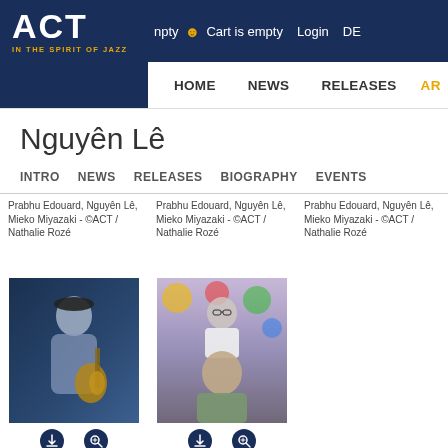npty  Cart is empty  Login  DE
ACT IN THE SPIRIT OF JAZZ | HOME  NEWS  RELEASES  AR
Nguyên Lê
INTRO  NEWS  RELEASES  BIOGRAPHY  EVENTS
Prabhu Edouard, Nguyên Lê, Mieko Miyazaki - ©ACT / Nathalie Rozé
Prabhu Edouard, Nguyên Lê, Mieko Miyazaki - ©ACT / Nathalie Rozé
Prabhu Edouard, Nguyên Lê, Mieko Miyazaki - ©ACT / Nathalie Rozé
[Figure (photo): Nguyên Lê playing guitar, wearing a patterned shirt and cap, dark background]
Nguyên Lê - ©ACT / Nathalie Rozé
[Figure (photo): Prabhu Edouard, Nguyên Lê, Mieko Miyazaki group photo with colorful background]
Prabhu Edouard, Nguyên Lê, Mieko Miyazaki - ©ACT /